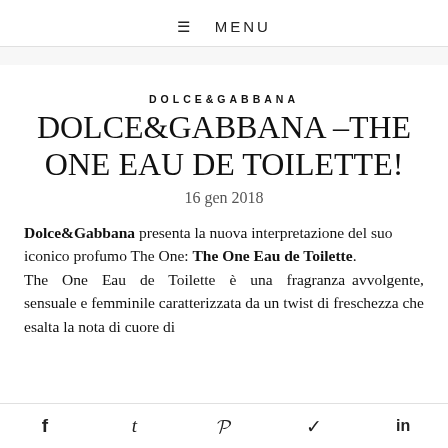≡ MENU
DOLCE&GABBANA
DOLCE&GABBANA –THE ONE EAU DE TOILETTE!
16 gen 2018
Dolce&Gabbana presenta la nuova interpretazione del suo iconico profumo The One: The One Eau de Toilette.
The One Eau de Toilette è una fragranza avvolgente, sensuale e femminile caratterizzata da un twist di freschezza che esalta la nota di cuore di
f  t  P  ✓  in